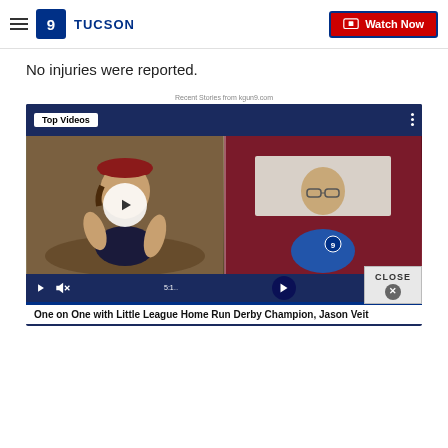9 TUCSON | Watch Now
No injuries were reported.
Recent Stories from kgun9.com
[Figure (screenshot): Video player showing 'Top Videos' panel with two thumbnails: a girl in a baseball cap on the left and a man in a blue shirt on the right. A play button circle overlay is centered. Bottom bar shows playback controls. Caption reads: 'One on One with Little League Home Run Derby Champion, Jason Veit'. A CLOSE button appears in the lower right corner.]